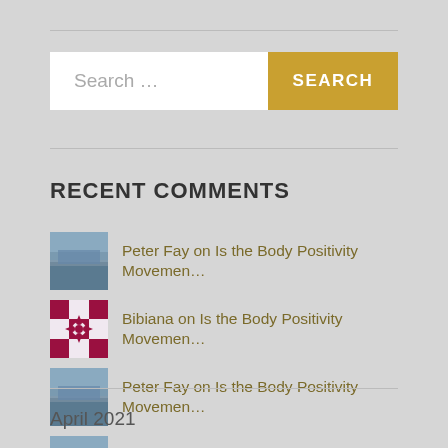Search ...
SEARCH
RECENT COMMENTS
Peter Fay on Is the Body Positivity Movemen...
Bibiana on Is the Body Positivity Movemen...
Peter Fay on Is the Body Positivity Movemen...
Peter Fay on “What Are We Making Weap...
MiloTalon on “What Are We Making Weap...
April 2021